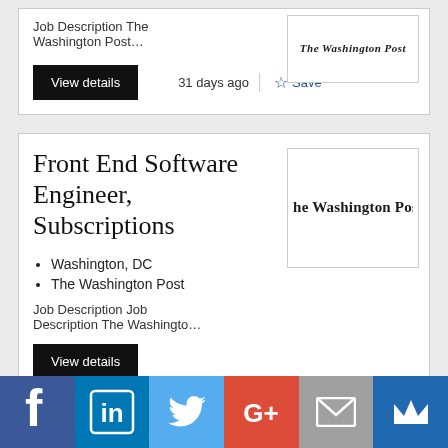Job Description The Washington Post…
View details   31 days ago   Save
Front End Software Engineer, Subscriptions
Washington, DC
The Washington Post
Job Description Job Description The Washingto…
[Figure (logo): The Washington Post logo (blackletter/old-English style text)]
[Figure (logo): The Washington Post logo (blackletter/old-English style text)]
[Figure (infographic): Social media share bar with icons: Facebook, LinkedIn, Twitter, Google+, Email, Monarch]